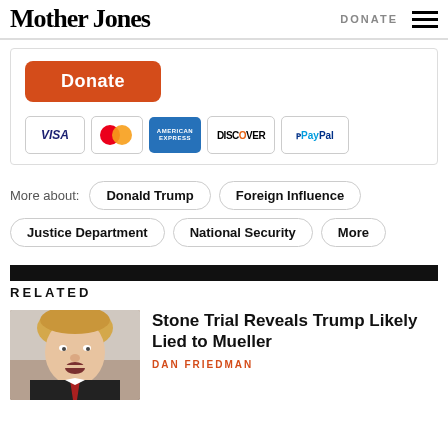Mother Jones | DONATE
[Figure (screenshot): Donate button (orange/red) and payment method icons: VISA, MasterCard, American Express, Discover, PayPal]
More about: Donald Trump  Foreign Influence  Justice Department  National Security  More
RELATED
[Figure (photo): Photograph of Donald Trump speaking, close-up, wearing dark suit and red tie]
Stone Trial Reveals Trump Likely Lied to Mueller
DAN FRIEDMAN